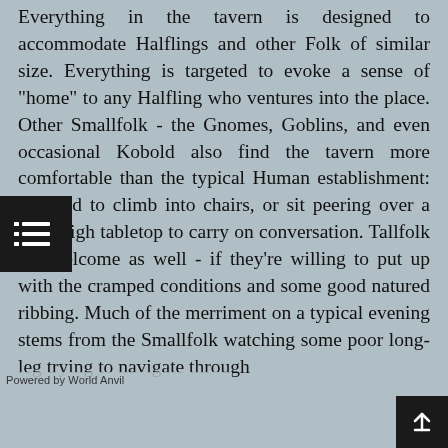Everything in the tavern is designed to accommodate Halflings and other Folk of similar size. Everything is targeted to evoke a sense of "home" to any Halfling who ventures into the place. Other Smallfolk - the Gnomes, Goblins, and even occasional Kobold also find the tavern more comfortable than the typical Human establishment: no need to climb into chairs, or sit peering over a nose-high tabletop to carry on conversation. Tallfolk are welcome as well - if they're willing to put up with the cramped conditions and some good natured ribbing. Much of the merriment on a typical evening stems from the Smallfolk watching some poor long-leg trying to navigate through
Powered by World Anvil